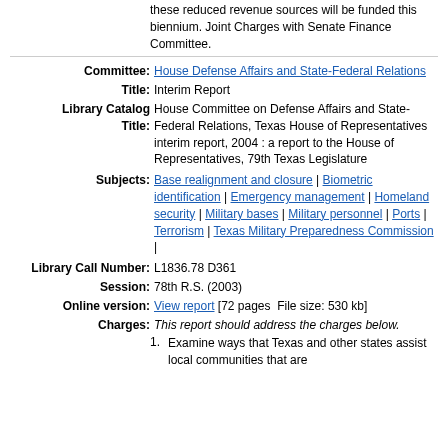these reduced revenue sources will be funded this biennium. Joint Charges with Senate Finance Committee.
Committee: House Defense Affairs and State-Federal Relations
Title: Interim Report
Library Catalog Title: House Committee on Defense Affairs and State-Federal Relations, Texas House of Representatives interim report, 2004 : a report to the House of Representatives, 79th Texas Legislature
Subjects: Base realignment and closure | Biometric identification | Emergency management | Homeland security | Military bases | Military personnel | Ports | Terrorism | Texas Military Preparedness Commission |
Library Call Number: L1836.78 D361
Session: 78th R.S. (2003)
Online version: View report [72 pages  File size: 530 kb]
Charges: This report should address the charges below.
1. Examine ways that Texas and other states assist local communities that are